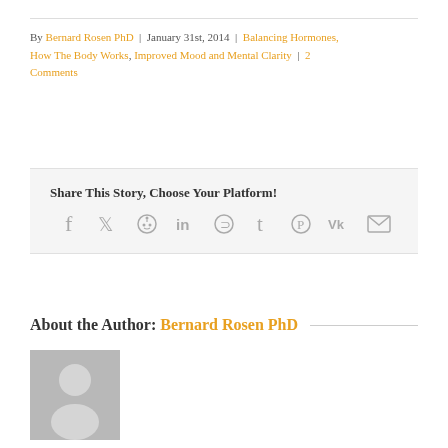By Bernard Rosen PhD | January 31st, 2014 | Balancing Hormones, How The Body Works, Improved Mood and Mental Clarity | 2 Comments
Share This Story, Choose Your Platform!
[Figure (infographic): Social sharing icons: Facebook, Twitter, Reddit, LinkedIn, WhatsApp, Tumblr, Pinterest, VK, Email]
About the Author: Bernard Rosen PhD
[Figure (photo): Author avatar placeholder image with silhouette on grey background]